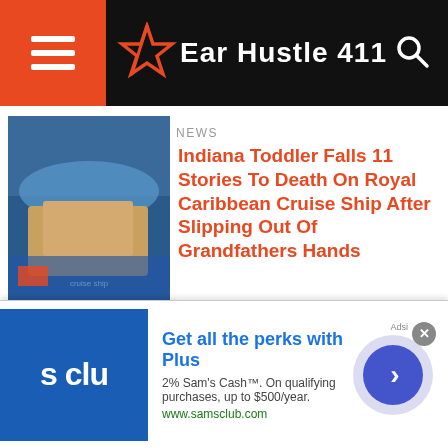Ear Hustle 411
NEWS
Indiana Toddler Falls 11 Stories To Death On Royal Caribbean Cruise Ship After Slipping Out Of Grandfathers Hands
NEWS
40 Year Old Shoots Kids For Lighting Fireworks,Bystander Shoots Him & His Home Then Burned To The Ground
NEWS
Celebrity Singer Ariana Grande Licked
Get all the perks with Plus
2% Sam's Cash™. On qualifying purchases, up to $500/year.
www.samsclub.com